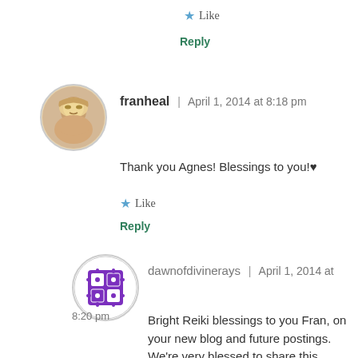★ Like
Reply
[Figure (photo): Round avatar photo of a woman with blonde hair, smiling]
franheal  |  April 1, 2014 at 8:18 pm
Thank you Agnes! Blessings to you!♥
★ Like
Reply
[Figure (illustration): Round avatar with a purple puzzle piece icon design]
dawnofdivinerays  |  April 1, 2014 at 8:20 pm
Bright Reiki blessings to you Fran, on your new blog and future postings. We're very blessed to share this journey with you. Namaste.